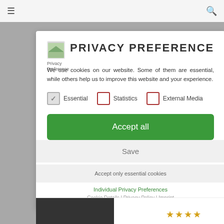≡  ⌕
PRIVACY PREFERENCE
We use cookies on our website. Some of them are essential, while others help us to improve this website and your experience.
Essential (checked)
Statistics (unchecked)
External Media (unchecked)
Accept all
Save
Accept only essential cookies
Individual Privacy Preferences
Cookie Details | Privacy Policy | Imprint